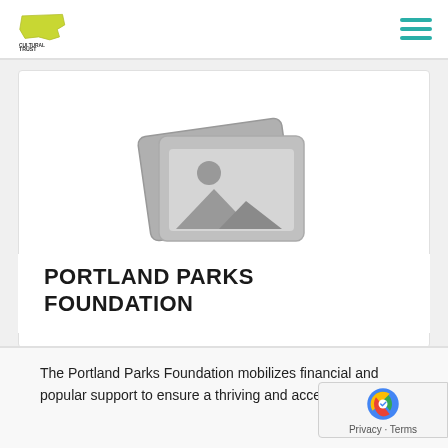Oregon Cultural Trust — navigation header with logo and hamburger menu
[Figure (illustration): Placeholder image icon showing two overlapping photo frames with a landscape scene (mountains and sun) in gray tones]
PORTLAND PARKS FOUNDATION
The Portland Parks Foundation mobilizes financial and popular support to ensure a thriving and accessible